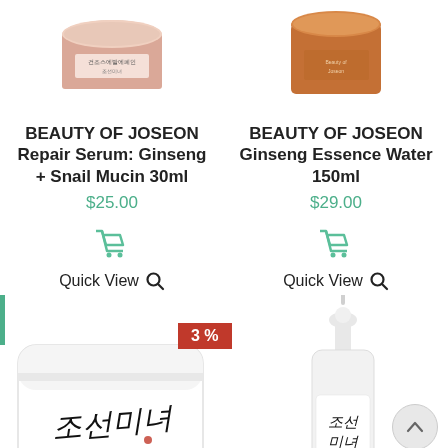[Figure (photo): Beauty of Joseon Repair Serum product jar, partially cropped at top]
[Figure (photo): Beauty of Joseon Ginseng Essence Water jar, amber/brown, partially cropped at top]
BEAUTY OF JOSEON Repair Serum: Ginseng + Snail Mucin 30ml
$25.00
[Figure (other): Shopping cart icon in green/teal]
Quick View
BEAUTY OF JOSEON Ginseng Essence Water 150ml
$29.00
[Figure (other): Shopping cart icon in green/teal]
Quick View
3 %
[Figure (photo): Beauty of Joseon cleansing balm jar with Korean calligraphy on white lid]
[Figure (photo): Beauty of Joseon dropper bottle serum with Korean calligraphy label]